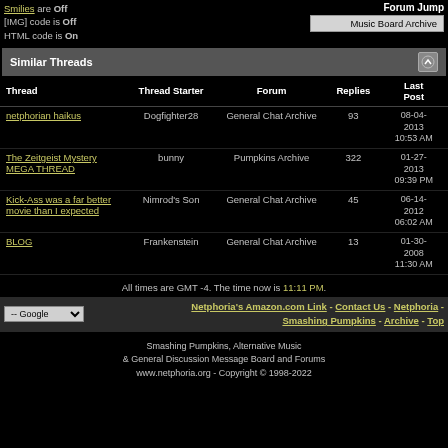Smilies are Off
[IMG] code is Off
HTML code is On
Forum Jump
Music Board Archive
Similar Threads
| Thread | Thread Starter | Forum | Replies | Last Post |
| --- | --- | --- | --- | --- |
| netphorian haikus | Dogfighter28 | General Chat Archive | 93 | 08-04-2013 10:53 AM |
| The Zeitgeist Mystery MEGA THREAD | bunny | Pumpkins Archive | 322 | 01-27-2013 09:39 PM |
| Kick-Ass was a far better movie than I expected | Nimrod's Son | General Chat Archive | 45 | 06-14-2012 06:02 AM |
| BLOG | Frankenstein | General Chat Archive | 13 | 01-30-2008 11:30 AM |
All times are GMT -4. The time now is 11:11 PM.
-- Google
Netphoria's Amazon.com Link - Contact Us - Netphoria - Smashing Pumpkins - Archive - Top
Smashing Pumpkins, Alternative Music & General Discussion Message Board and Forums
www.netphoria.org - Copyright © 1998-2022